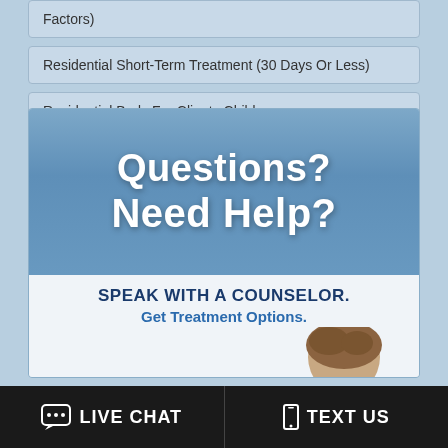Factors)
Residential Short-Term Treatment (30 Days Or Less)
Residential Beds For Clients Children
[Figure (infographic): Advertisement banner with blue gradient background showing 'Questions? Need Help?' in large white bold text on top section, and 'SPEAK WITH A COUNSELOR. Get Treatment Options.' in dark blue text on light background lower section, with a partial image of a person's head visible at bottom right.]
LIVE CHAT
TEXT US